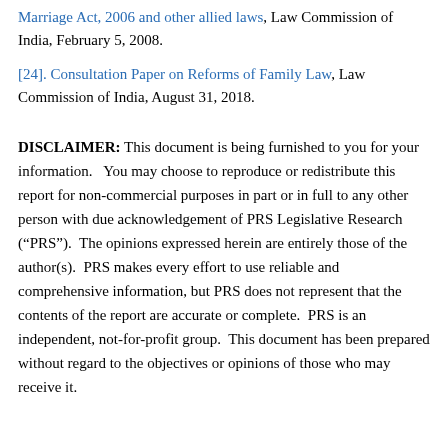Marriage Act, 2006 and other allied laws, Law Commission of India, February 5, 2008.
[24]. Consultation Paper on Reforms of Family Law, Law Commission of India, August 31, 2018.
DISCLAIMER: This document is being furnished to you for your information.   You may choose to reproduce or redistribute this report for non-commercial purposes in part or in full to any other person with due acknowledgement of PRS Legislative Research (“PRS”).  The opinions expressed herein are entirely those of the author(s).  PRS makes every effort to use reliable and comprehensive information, but PRS does not represent that the contents of the report are accurate or complete.  PRS is an independent, not-for-profit group.  This document has been prepared without regard to the objectives or opinions of those who may receive it.